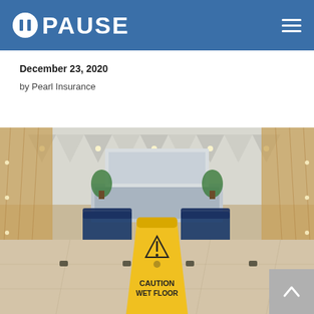PAUSE
December 23, 2020
by Pearl Insurance
[Figure (photo): Lobby interior with marble floor, decorative ceiling, blue chairs and a reception desk in the background. A yellow 'CAUTION WET FLOOR' sign is prominently placed in the foreground center.]